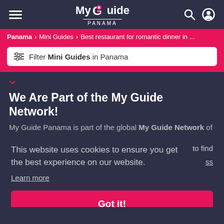My Guide Panama
Panama > Mini Guides > Best restaurant for romantic dinner in ...
Filter Mini Guides in Panama
We Are Part of the My Guide Network!
My Guide Panama is part of the global My Guide Network of Online
This website uses cookies to ensure you get the best experience on our website. Learn more
to find
ss
Got it!